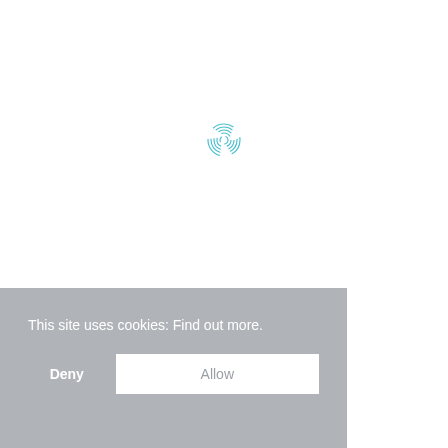[Figure (other): Loading spinner icon — teal/blue circular fingerprint-like spinner in the center of a white area]
This site uses cookies:  Find out more.
Deny
Allow